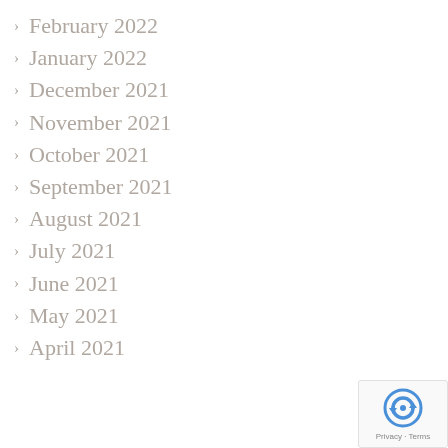February 2022
January 2022
December 2021
November 2021
October 2021
September 2021
August 2021
July 2021
June 2021
May 2021
April 2021
[Figure (logo): reCAPTCHA badge with Privacy and Terms links]